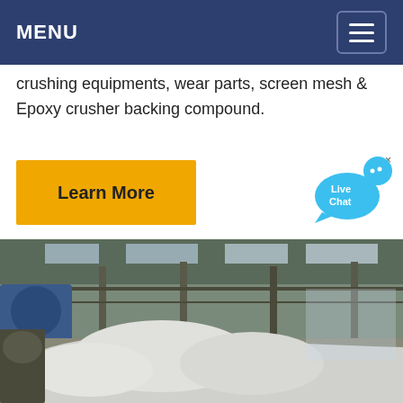MENU
crushing equipments, wear parts, screen mesh & Epoxy crusher backing compound.
[Figure (screenshot): Yellow 'Learn More' button]
[Figure (illustration): Live Chat widget with speech bubble icon]
[Figure (photo): Factory interior with industrial crushing equipment covered in white material, visible in a large warehouse with natural lighting through windows and roof structure]